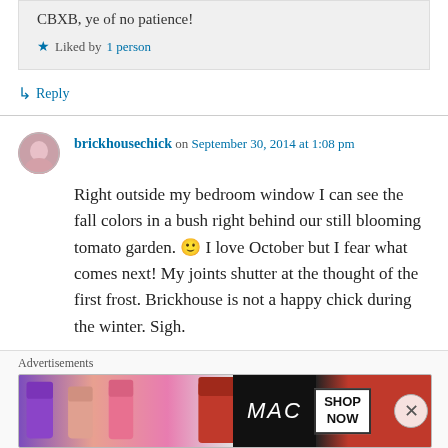CBXB, ye of no patience!
Liked by 1 person
Reply
brickhousechick on September 30, 2014 at 1:08 pm
Right outside my bedroom window I can see the fall colors in a bush right behind our still blooming tomato garden. 🙂 I love October but I fear what comes next! My joints shutter at the thought of the first frost. Brickhouse is not a happy chick during the winter. Sigh.
Advertisements